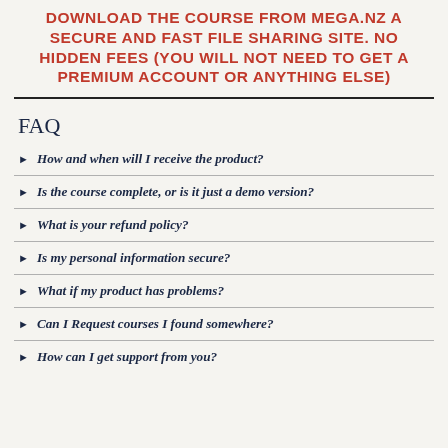DOWNLOAD THE COURSE FROM MEGA.NZ A SECURE AND FAST FILE SHARING SITE. NO HIDDEN FEES (YOU WILL NOT NEED TO GET A PREMIUM ACCOUNT OR ANYTHING ELSE)
FAQ
How and when will I receive the product?
Is the course complete, or is it just a demo version?
What is your refund policy?
Is my personal information secure?
What if my product has problems?
Can I Request courses I found somewhere?
How can I get support from you?